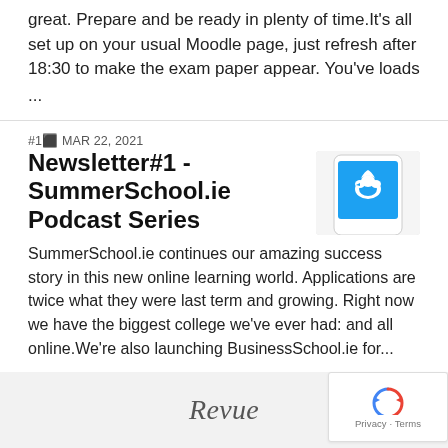great. Prepare and be ready in plenty of time.It's all set up on your usual Moodle page, just refresh after 18:30 to make the exam paper appear. You've loads
...
#12 MAR 22, 2021
Newsletter#1 - SummerSchool.ie Podcast Series
[Figure (photo): Thumbnail image of a smartphone showing the Twitter bird logo on screen]
SummerSchool.ie continues our amazing success story in this new online learning world. Applications are twice what they were last term and growing. Right now we have the biggest college we've ever had: and all online.We're also launching BusinessSchool.ie for...
Revue